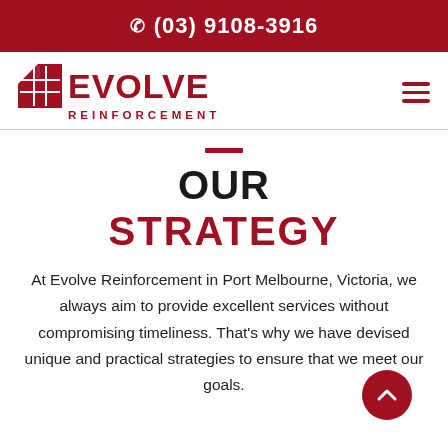☎ (03) 9108-3916
[Figure (logo): Evolve Reinforcement logo with grid icon and company name]
OUR STRATEGY
At Evolve Reinforcement in Port Melbourne, Victoria, we always aim to provide excellent services without compromising timeliness. That's why we have devised unique and practical strategies to ensure that we meet our goals.